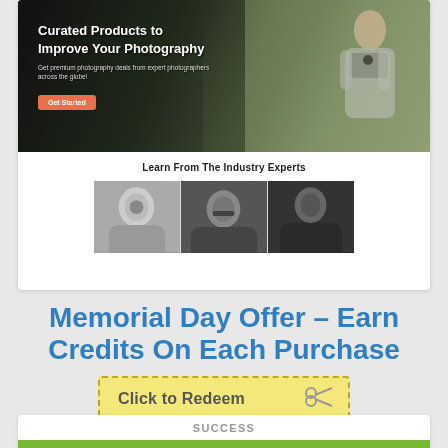[Figure (screenshot): Photography e-commerce website hero banner showing a woman holding a camera in a field with a blue van, with text 'Curated Products to Improve Your Photography', subtitle 'Get premium photography deals from expert photographers across the globe!' and an orange 'Get Started' button]
Learn From The Industry Experts
[Figure (photo): Three black and white portrait photos of photography industry experts side by side]
Memorial Day Offer – Earn Credits On Each Purchase
[Figure (other): Yellow coupon with dashed border containing text 'Click to Redeem' and scissors icon]
SUCCESS
[Figure (other): Green progress bar showing 100%]